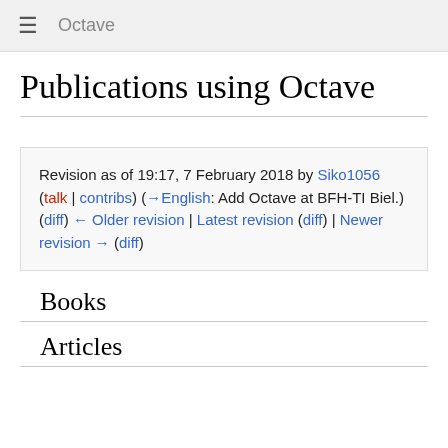≡  Octave
Publications using Octave
Revision as of 19:17, 7 February 2018 by Siko1056 (talk | contribs) (→English: Add Octave at BFH-TI Biel.)
(diff) ← Older revision | Latest revision (diff) | Newer revision → (diff)
Books
Articles